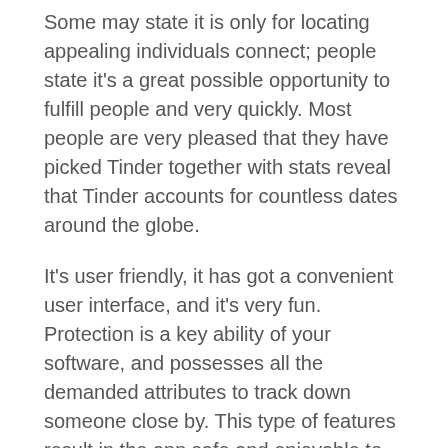Some may state it is only for locating appealing individuals connect; people state it's a great possible opportunity to fulfill people and very quickly. Most people are very pleased that they have picked Tinder together with stats reveal that Tinder accounts for countless dates around the globe.
It's user friendly, it has got a convenient user interface, and it's very fun. Protection is a key ability of your software, and possesses all the demanded attributes to track down someone close by. This type of features result in the app safe and enjoyable to make use of, and it also's certainly efficient.